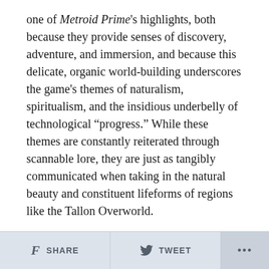one of Metroid Prime's highlights, both because they provide senses of discovery, adventure, and immersion, and because this delicate, organic world-building underscores the game's themes of naturalism, spiritualism, and the insidious underbelly of technological “progress.” While these themes are constantly reiterated through scannable lore, they are just as tangibly communicated when taking in the natural beauty and constituent lifeforms of regions like the Tallon Overworld.
SHARE   TWEET   ...